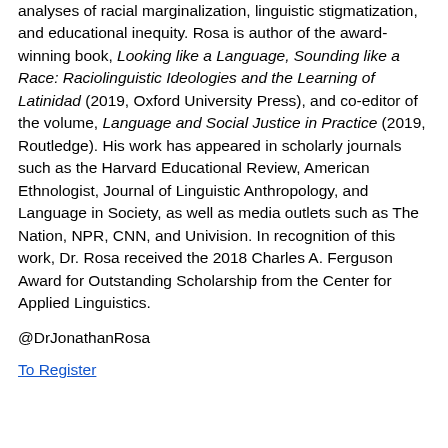analyses of racial marginalization, linguistic stigmatization, and educational inequity. Rosa is author of the award-winning book, Looking like a Language, Sounding like a Race: Raciolinguistic Ideologies and the Learning of Latinidad (2019, Oxford University Press), and co-editor of the volume, Language and Social Justice in Practice (2019, Routledge). His work has appeared in scholarly journals such as the Harvard Educational Review, American Ethnologist, Journal of Linguistic Anthropology, and Language in Society, as well as media outlets such as The Nation, NPR, CNN, and Univision. In recognition of this work, Dr. Rosa received the 2018 Charles A. Ferguson Award for Outstanding Scholarship from the Center for Applied Linguistics.
@DrJonathanRosa
To Register